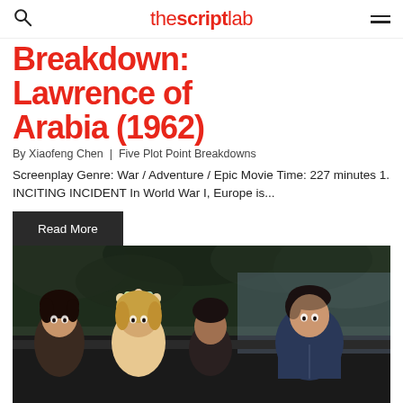the script lab
Breakdown: Lawrence of Arabia (1962)
By Xiaofeng Chen | Five Plot Point Breakdowns
Screenplay Genre: War / Adventure / Epic Movie Time: 227 minutes 1. INCITING INCIDENT In World War I, Europe is...
Read More
[Figure (photo): Movie still showing four young people inside a car, looking alarmed, set against a dark wooded background.]